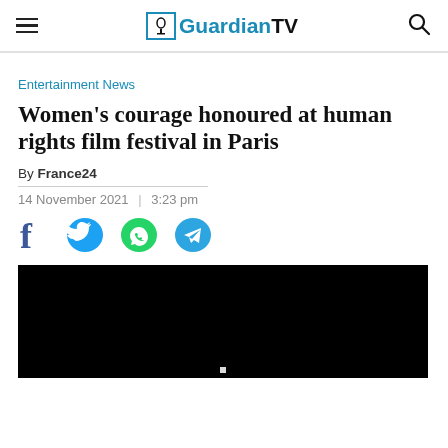Guardian TV
Entertainment News
Women’s courage honoured at human rights film festival in Paris
By France24
14 November 2021  |  3:23 pm
[Figure (other): Social sharing icons: Facebook, Twitter, WhatsApp, Telegram]
[Figure (other): Black video player embed area]